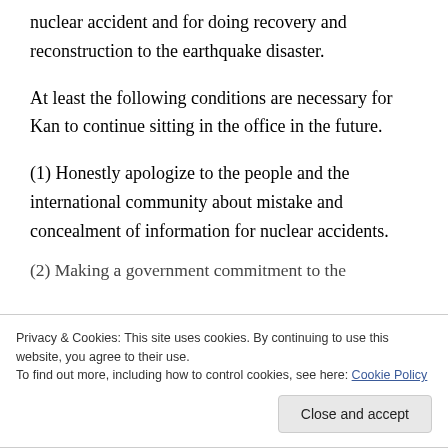nuclear accident and for doing recovery and reconstruction to the earthquake disaster.
At least the following conditions are necessary for Kan to continue sitting in the office in the future.
(1) Honestly apologize to the people and the international community about mistake and concealment of information for nuclear accidents.
(2) Making a government commitment to the
Privacy & Cookies: This site uses cookies. By continuing to use this website, you agree to their use. To find out more, including how to control cookies, see here: Cookie Policy
Close and accept